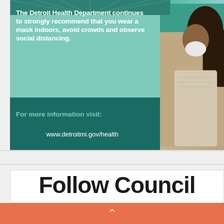[Figure (infographic): Detroit Health Department public health advisory card with mint/teal background showing a masked person on the right side. Text recommends wearing masks indoors, avoiding crowds, and observing social distancing. Bottom dark teal section shows website URL.]
The Detroit Health Department continues to strongly recommend that you wear a mask indoors, avoid crowds and observe social distancing.
For more information visit: www.detroitmi.gov/health
Follow Council